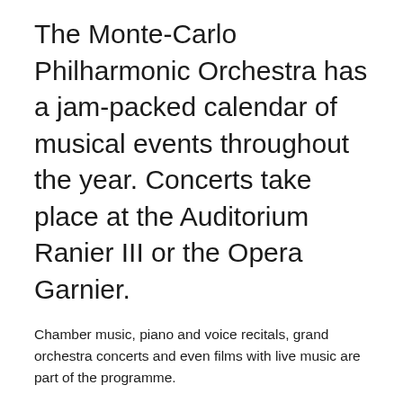The Monte-Carlo Philharmonic Orchestra has a jam-packed calendar of musical events throughout the year. Concerts take place at the Auditorium Ranier III or the Opera Garnier.
Chamber music, piano and voice recitals, grand orchestra concerts and even films with live music are part of the programme.
To see the full lineup and book tickets, click on the web link.
Venue
Auditorium Ranier III & Opera Garnier